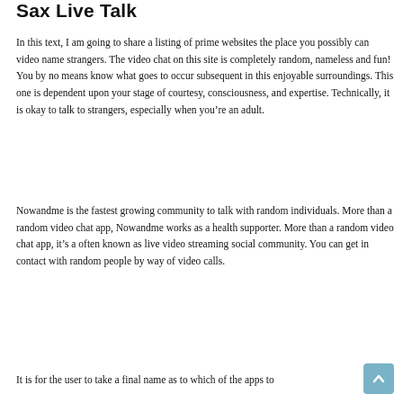Sax Live Talk
In this text, I am going to share a listing of prime websites the place you possibly can video name strangers. The video chat on this site is completely random, nameless and fun! You by no means know what goes to occur subsequent in this enjoyable surroundings. This one is dependent upon your stage of courtesy, consciousness, and expertise. Technically, it is okay to talk to strangers, especially when you’re an adult.
Nowandme is the fastest growing community to talk with random individuals. More than a random video chat app, Nowandme works as a health supporter. More than a random video chat app, it’s a often known as live video streaming social community. You can get in contact with random people by way of video calls.
It is for the user to take a final name as to which of the apps to